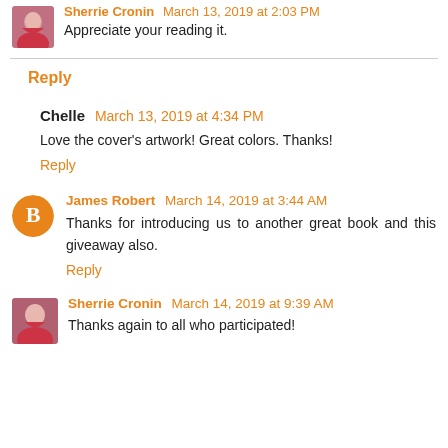[Figure (photo): Avatar photo of Sherrie Cronin, woman in red/pink top]
Sherrie Cronin March 13, 2019 at 2:03 PM
Appreciate your reading it.
Reply
Chelle March 13, 2019 at 4:34 PM
Love the cover's artwork! Great colors. Thanks!
Reply
[Figure (logo): Orange circle Blogger icon avatar for James Robert]
James Robert March 14, 2019 at 3:44 AM
Thanks for introducing us to another great book and this giveaway also.
Reply
[Figure (photo): Avatar photo of Sherrie Cronin, woman in red/pink top]
Sherrie Cronin March 14, 2019 at 9:39 AM
Thanks again to all who participated!